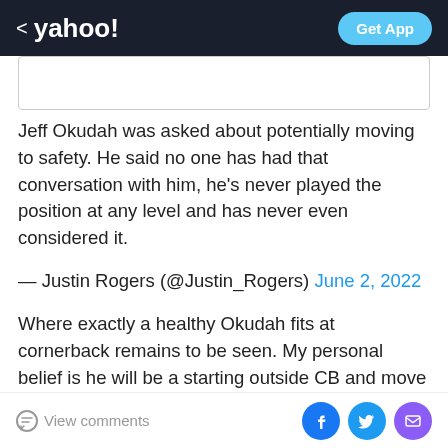< yahoo! | Get App
[Figure (other): Image placeholder box]
Jeff Okudah was asked about potentially moving to safety. He said no one has had that conversation with him, he's never played the position at any level and has never even considered it.
— Justin Rogers (@Justin_Rogers) June 2, 2022
Where exactly a healthy Okudah fits at cornerback remains to be seen. My personal belief is he will be a starting outside CB and move inside to the slot when the Lions move to three CBs. He will have competition outside from last year's impressive rookie, Jerry Jacobs,
View comments | Facebook | Twitter | Email